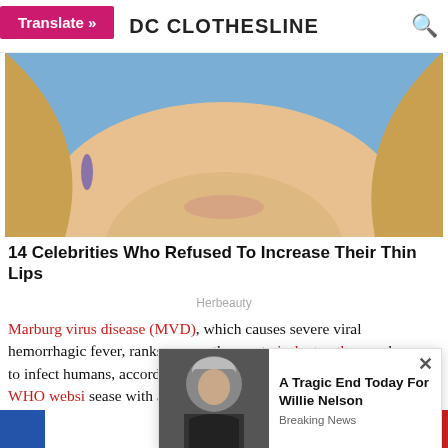DC CLOTHESLINE
[Figure (photo): Close-up of a blonde woman's face, cropped showing chin and hair, blue background]
14 Celebrities Who Refused To Increase Their Thin Lips
Herbeauty
Marburg virus disease (MVD), which causes severe viral hemorrhagic fever, ranks among the most virulent pathogens known to infect humans, according to the World Health Organization. The WHO websi... sease with a... specif... rect
[Figure (photo): Popup ad showing Willie Nelson photo with text: A Tragic End Today For Willie Nelson - Breaking News]